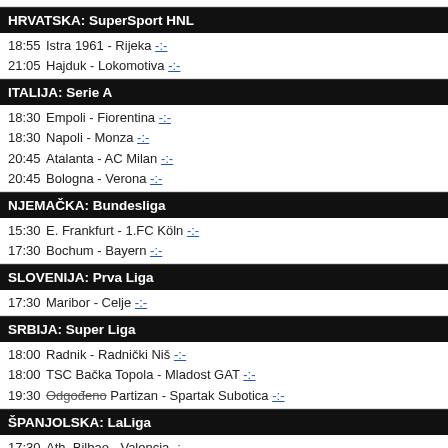HRVATSKA: SuperSport HNL
18:55  Istra 1961 - Rijeka -:-
21:05  Hajduk - Lokomotiva -:-
ITALIJA: Serie A
18:30  Empoli - Fiorentina -:-
18:30  Napoli - Monza -:-
20:45  Atalanta - AC Milan -:-
20:45  Bologna - Verona -:-
NJEMAČKA: Bundesliga
15:30  E. Frankfurt - 1.FC Köln -:-
17:30  Bochum - Bayern -:-
SLOVENIJA: Prva Liga
17:30  Maribor - Celje -:-
SRBIJA: Super Liga
18:00  Radnik - Radnički Niš -:-
18:00  TSC Bačka Topola - Mladost GAT -:-
19:30  Odgođeno  Partizan - Spartak Subotica -:-
ŠPANJOLSKA: LaLiga
17:30  Ath. Bilbao - Valencia -:-
19:30  Atl. Madrid - Villarreal -:-
22:00  Real Sociedad - Barcelona -:-
ALBANIJA: Superliga
17:00  Bylis - Kastrioti -:-
17:00  Laci - Teuta -:-
ARGENTINA: Liga Profesional